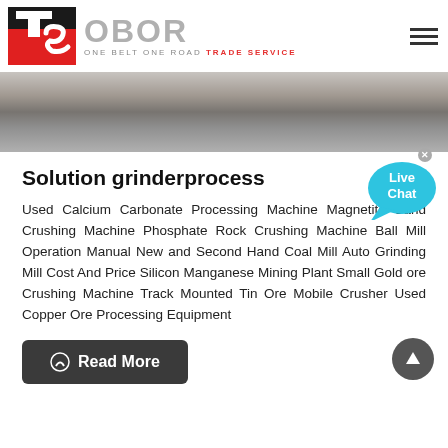[Figure (logo): OBOR Trade Service logo with TS icon in red/black and OBOR text, ONE BELT ONE ROAD TRADE SERVICE subtitle]
[Figure (photo): Construction site banner photo showing building structures in dark tones]
Solution grinderprocess
Used Calcium Carbonate Processing Machine Magnetite Sand Crushing Machine Phosphate Rock Crushing Machine Ball Mill Operation Manual New and Second Hand Coal Mill Auto Grinding Mill Cost And Price Silicon Manganese Mining Plant Small Gold ore Crushing Machine Track Mounted Tin Ore Mobile Crusher Used Copper Ore Processing Equipment
[Figure (illustration): Live Chat speech bubble icon in cyan/blue]
Read More